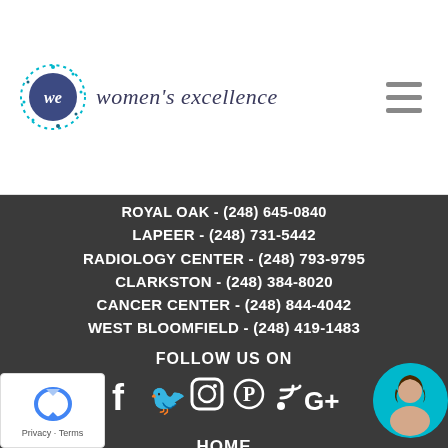[Figure (logo): Women's Excellence logo with circular dotted emblem and script text]
ROYAL OAK - (248) 645-0840
LAPEER - (248) 731-5442
RADIOLOGY CENTER - (248) 793-9795
CLARKSTON - (248) 384-8020
CANCER CENTER - (248) 844-4042
WEST BLOOMFIELD - (248) 419-1483
FOLLOW US ON
[Figure (infographic): Social media icons: Facebook, Twitter, Instagram, Pinterest, RSS, Google+]
HOME
ABOUT